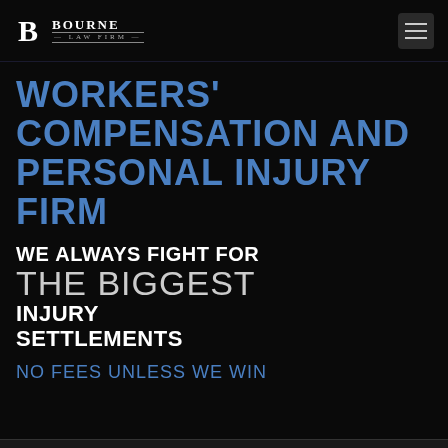Bourne Law Firm
WORKERS' COMPENSATION AND PERSONAL INJURY FIRM
WE ALWAYS FIGHT FOR THE BIGGEST INJURY SETTLEMENTS
NO FEES UNLESS WE WIN